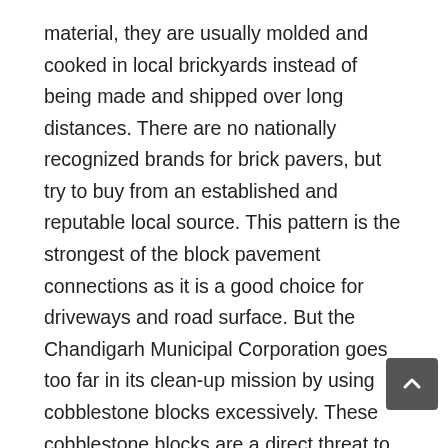material, they are usually molded and cooked in local brickyards instead of being made and shipped over long distances. There are no nationally recognized brands for brick pavers, but try to buy from an established and reputable local source. This pattern is the strongest of the block pavement connections as it is a good choice for driveways and road surface. But the Chandigarh Municipal Corporation goes too far in its clean-up mission by using cobblestone blocks excessively. These cobblestone blocks are a direct threat to the city's vegetation. The MC complements the concrete jungle that is already spreading rapidly in the city. The MC opts for paving stones because they require less maintenance. Likewise, the compressive strength obtained after 3 hours of curing with hot water is higher than that obtained for samples cured outdoors for 7 days. As the name suggests, IPB samples